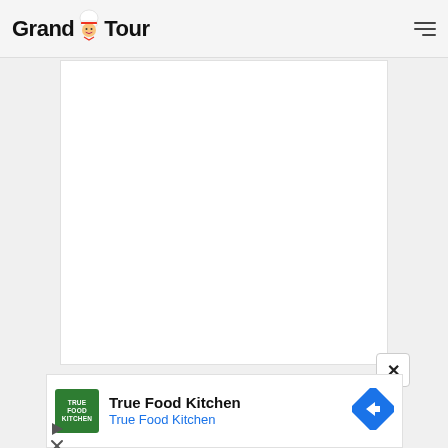Grand Tour — navigation header with logo and hamburger menu
[Figure (screenshot): White blank content area / article image placeholder on light grey background]
[Figure (screenshot): Close button (×) overlay in bottom-right corner of content area]
[Figure (other): Advertisement banner: True Food Kitchen with green logo square, business name, blue subtitle 'True Food Kitchen', and blue diamond navigation icon with arrow]
[Figure (other): Ad control icons: play triangle and close X below the ad strip]